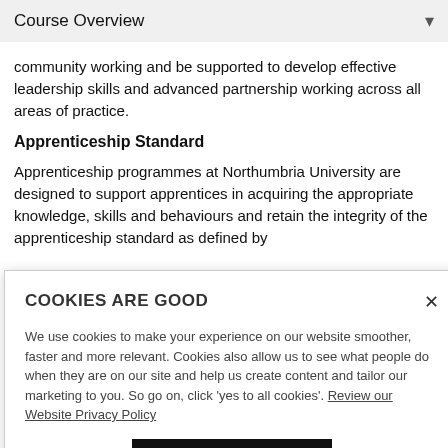Course Overview
community working and be supported to develop effective leadership skills and advanced partnership working across all areas of practice.
Apprenticeship Standard
Apprenticeship programmes at Northumbria University are designed to support apprentices in acquiring the appropriate knowledge, skills and behaviours and retain the integrity of the apprenticeship standard as defined by
[Figure (screenshot): Cookie consent banner overlay with title 'COOKIES ARE GOOD', close button X, descriptive text about cookie usage, a link 'Review our Website Privacy Policy', and a partially visible black button at the bottom.]